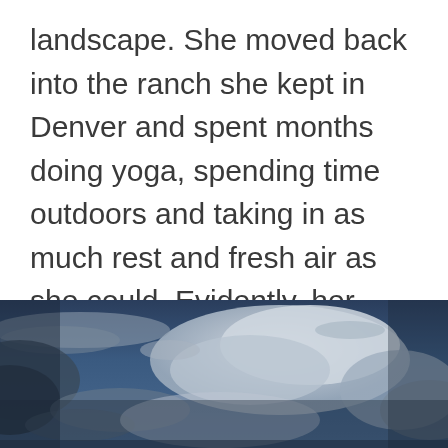landscape. She moved back into the ranch she kept in Denver and spent months doing yoga, spending time outdoors and taking in as much rest and fresh air as she could. Evidently, her method worked. Soon, against the odds, Grier went into complete remission.
[Figure (photo): Panoramic sky photograph showing deep blue sky with dramatic clouds, panoramic wide-angle view with clouds spread across the frame, darker tones at edges and brighter whites near center]